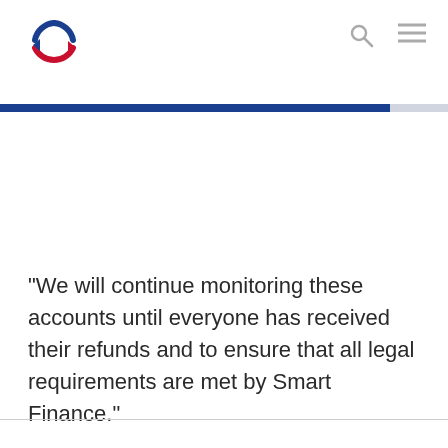“We will continue monitoring these accounts until everyone has received their refunds and to ensure that all legal requirements are met by Smart Finance.”